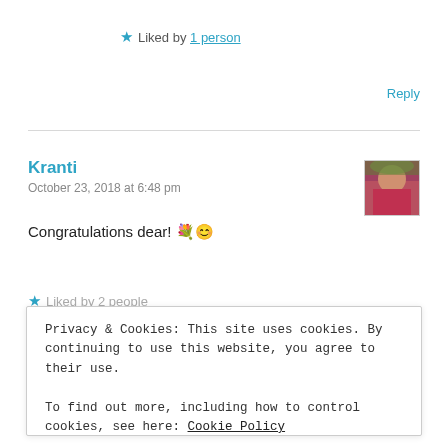★ Liked by 1 person
Reply
Kranti
October 23, 2018 at 6:48 pm
Congratulations dear! 💐😊
★ Liked by 2 people
Privacy & Cookies: This site uses cookies. By continuing to use this website, you agree to their use.
To find out more, including how to control cookies, see here: Cookie Policy
Close and accept